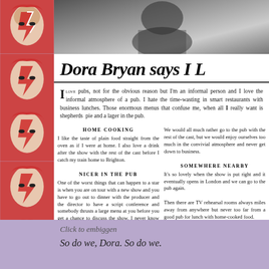[Figure (photo): Repeating images of a face with red and white face paint (Ziggy Stardust style) arranged vertically on left strip]
[Figure (photo): Black and white photo at top of article, appears to show a person]
Dora Bryan says I L
I LOVE pubs, not for the obvious reason but I'm an informal person and I love the informal atmosphere of a pub. I hate the time-wasting in smart restaurants with business lunches. Those enormous menus that confuse me, when all I really want is shepherds pie and a lager in the pub.
HOME COOKING
I like the taste of plain food straight from the oven as if I were at home. I also love a drink after the show with the rest of the cast before I catch my train home to Brighton.
NICER IN THE PUB
One of the worst things that can happen to a star is when you are on tour with a new show and you have to go out to dinner with the producer and the director to have a script conference and somebody thrusts a large menu at you before you get a chance to discuss the show. I never know what to ask for.
We would all much rather go to the pub with the rest of the cast, but we would enjoy ourselves too much in the convivial atmosphere and never get down to business.
SOMEWHERE NEARBY
It's so lovely when the show is put right and it eventually opens in London and we can go to the pub again.

Then there are TV rehearsal rooms always miles away from anywhere but never too far from a good pub for lunch with home-cooked food.

I wonder what they do in America.
Click to embiggen
So do we, Dora. So do we.